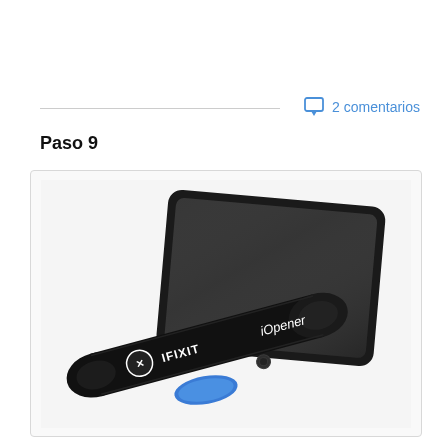2 comentarios
Paso 9
[Figure (photo): iFixit iOpener heating tool (black cylindrical bag with white iFixit logo) placed diagonally in front of a black iPad tablet, with a blue plastic opening pick visible underneath, on a white background.]